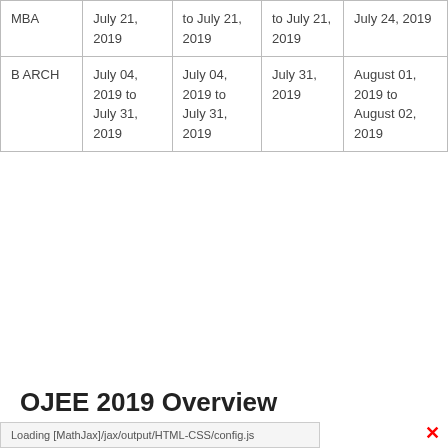| MBA | July 21, 2019 | to July 21, 2019 | to July 21, 2019 | July 24, 2019 |
| B ARCH | July 04, 2019 to July 31, 2019 | July 04, 2019 to July 31, 2019 | July 31, 2019 | August 01, 2019 to August 02, 2019 |
OJEE 2019 Overview
Loading [MathJax]/jax/output/HTML-CSS/config.js